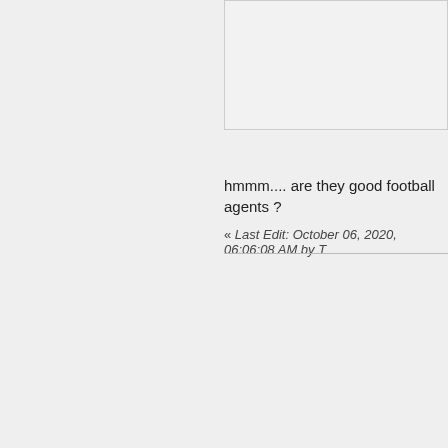[Figure (screenshot): Partial view of a forum post box/panel at top right, light gray background with border]
hmmm.... are they good football agents ?
« Last Edit: October 06, 2020, 06:06:08 AM by T